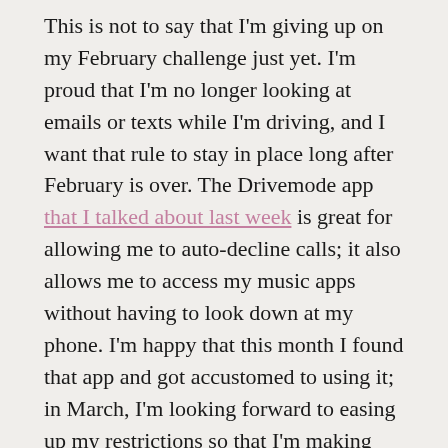This is not to say that I'm giving up on my February challenge just yet. I'm proud that I'm no longer looking at emails or texts while I'm driving, and I want that rule to stay in place long after February is over. The Drivemode app that I talked about last week is great for allowing me to auto-decline calls; it also allows me to access my music apps without having to look down at my phone. I'm happy that this month I found that app and got accustomed to using it; in March, I'm looking forward to easing up my restrictions so that I'm making hands-free calls as well, and it seems like Drivemode will make that easier, too.
This month I realized that one of the reasons this challenge has been so tough is because the car is great for phone time when you're making calls hands-free. It can be really hard to fit catch-up